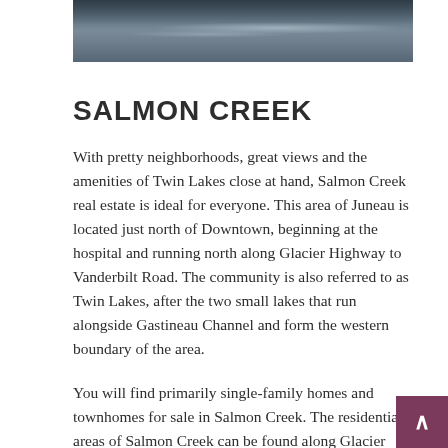[Figure (photo): Aerial or water-level view of a dark reflective water body, likely Gastineau Channel or Twin Lakes near Salmon Creek, Juneau. Dark moody tones with light reflections on the water surface.]
SALMON CREEK
With pretty neighborhoods, great views and the amenities of Twin Lakes close at hand, Salmon Creek real estate is ideal for everyone. This area of Juneau is located just north of Downtown, beginning at the hospital and running north along Glacier Highway to Vanderbilt Road. The community is also referred to as Twin Lakes, after the two small lakes that run alongside Gastineau Channel and form the western boundary of the area.
You will find primarily single-family homes and townhomes for sale in Salmon Creek. The residential areas of Salmon Creek can be found along Glacier Highway and in